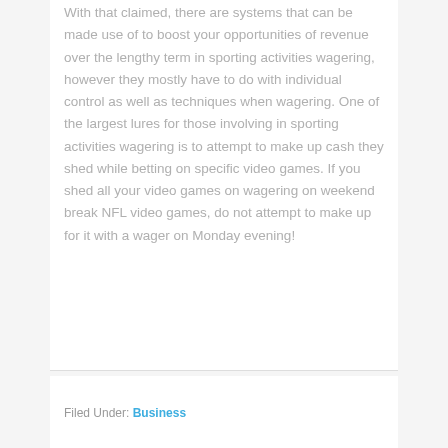With that claimed, there are systems that can be made use of to boost your opportunities of revenue over the lengthy term in sporting activities wagering, however they mostly have to do with individual control as well as techniques when wagering. One of the largest lures for those involving in sporting activities wagering is to attempt to make up cash they shed while betting on specific video games. If you shed all your video games on wagering on weekend break NFL video games, do not attempt to make up for it with a wager on Monday evening!
Filed Under: Business